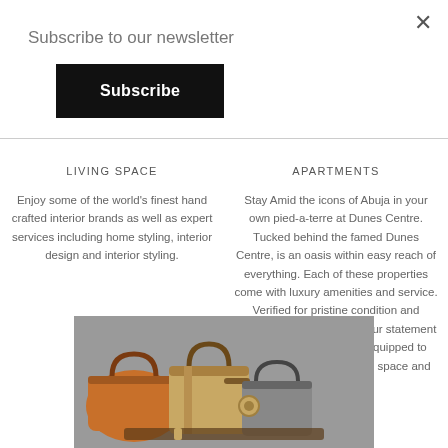Subscribe to our newsletter
Subscribe
LIVING SPACE
APARTMENTS
Enjoy some of the world’s finest hand crafted interior brands as well as expert services including home styling, interior design and interior styling.
Stay Amid the icons of Abuja in your own pied-a-terre at Dunes Centre. Tucked behind the famed Dunes Centre, is an oasis within easy reach of everything. Each of these properties come with luxury amenities and service. Verified for pristine condition and meticulous maintenance, our statement making homes are fully equipped to meet your needs of ample space and privacy.
[Figure (photo): Photo of luxury handbags and accessories in tan, brown, and grey tones on a grey background]